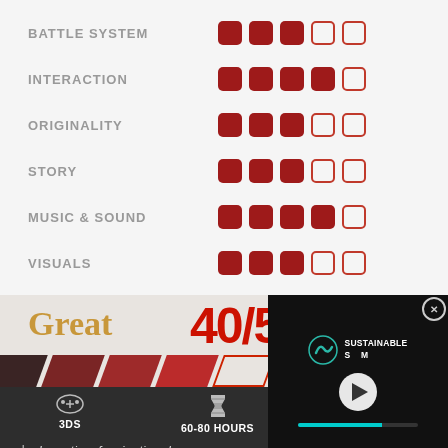[Figure (infographic): Game review rating scorecard with 6 categories each rated with filled and empty squares out of 5: Battle System 3/5, Interaction 4/5, Originality 3/5, Story 3/5, Music & Sound 4/5, Visuals 3/5]
Great
40/5
3DS
60-80 HOURS
Inventive, fascinating dungeon
Quick and effective mechanics